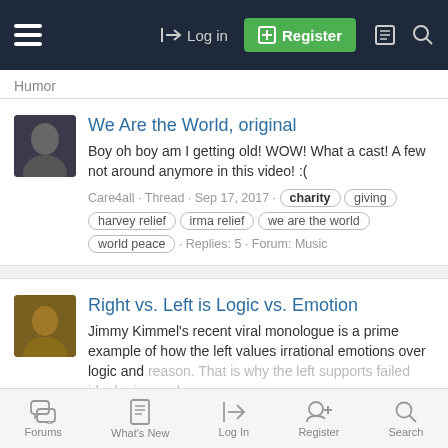Log in | Register
Humor
We Are the World, original
Boy oh boy am I getting old! WOW! What a cast! A few not around anymore in this video! :(
Care4all · Thread · Sep 17, 2017 · charity giving harvey relief irma relief we are the world world peace · Replies: 5 · Forum: Music
Right vs. Left is Logic vs. Emotion
Jimmy Kimmel's recent viral monologue is a prime example of how the left values irrational emotions over logic and reason. That is why the left supports failed ideologies such
Forums · What's New · Log In · Register · Search